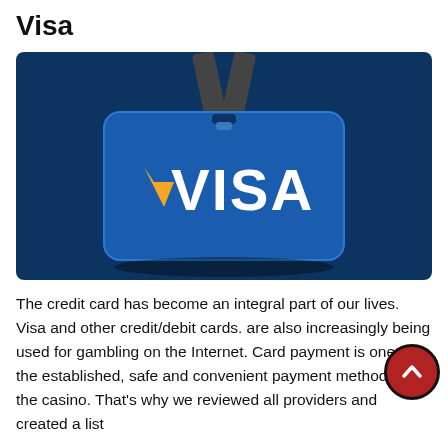Visa
[Figure (illustration): Illustration of a Visa card on a lanyard against a dark blue background, displaying the VISA logo with the classic blue, white, and gold colors.]
The credit card has become an integral part of our lives. Visa and other credit/debit cards. are also increasingly being used for gambling on the Internet. Card payment is one of the established, safe and convenient payment methods in the casino. That's why we reviewed all providers and created a list